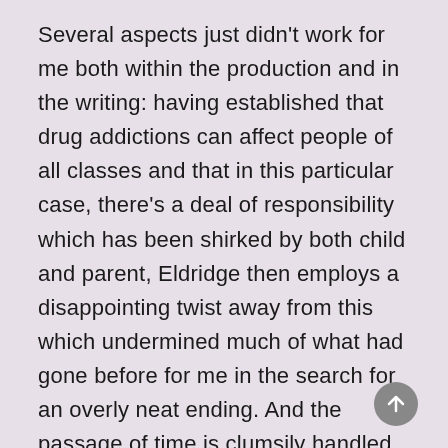Several aspects just didn't work for me both within the production and in the writing: having established that drug addictions can affect people of all classes and that in this particular case, there's a deal of responsibility which has been shirked by both child and parent, Eldridge then employs a disappointing twist away from this which undermined much of what had gone before for me in the search for an overly neat ending. And the passage of time is clumsily handled, I think the play covers three years or so, means that key scenes are hurried: no sooner has Lucy arrived at a crisis centre, unwilling to participate, is she spilling her guts to the care worker and starting the rehab process. I'm no expert on addiction, and I do see